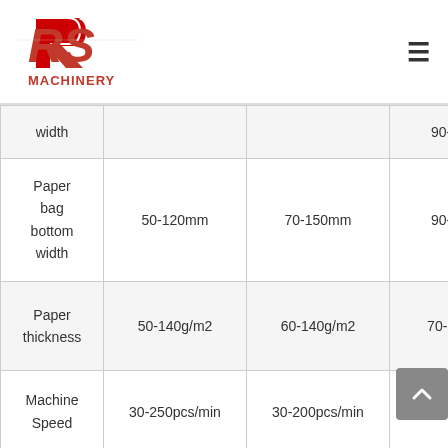[Figure (logo): RS Machinery logo — red stylized RS letters with MACHINERY text below]
|  | Col1 | Col2 | Col3 |
| --- | --- | --- | --- |
| width |  |  | 90-2… |
| Paper bag bottom width | 50-120mm | 70-150mm | 90-2… |
| Paper thickness | 50-140g/m2 | 60-140g/m2 | 70-14… |
| Machine Speed | 30-250pcs/min | 30-200pcs/min | 30-200… |